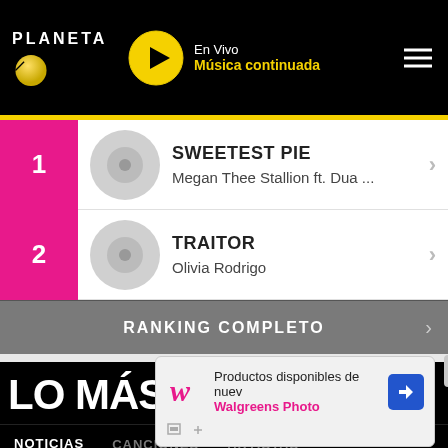PLANETA — En Vivo Música continuada
1. SWEETEST PIE — Megan Thee Stallion ft. Dua ...
2. TRAITOR — Olivia Rodrigo
RANKING COMPLETO
LO MÁS VISTO
NOTICIAS   CANCIONES   ARTISTAS
[Figure (screenshot): Ad overlay: Walgreens Photo — Productos disponibles de nuev / Walgreens Photo, with close X button and navigation arrow]